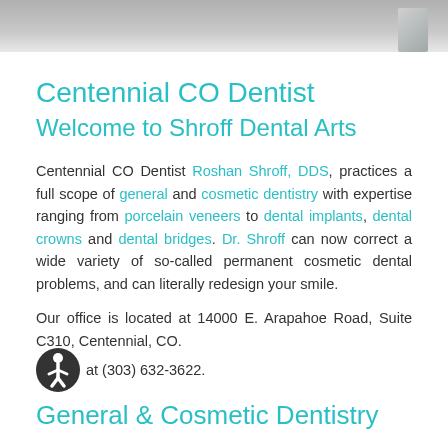[Figure (photo): Gray header banner image with a metallic/architectural element on the right side]
Centennial CO Dentist
Welcome to Shroff Dental Arts
Centennial CO Dentist Roshan Shroff, DDS, practices a full scope of general and cosmetic dentistry with expertise ranging from porcelain veneers to dental implants, dental crowns and dental bridges. Dr. Shroff can now correct a wide variety of so-called permanent cosmetic dental problems, and can literally redesign your smile.
Our office is located at 14000 E. Arapahoe Road, Suite C310, Centennial, CO.
Call at (303) 632-3622.
General & Cosmetic Dentistry